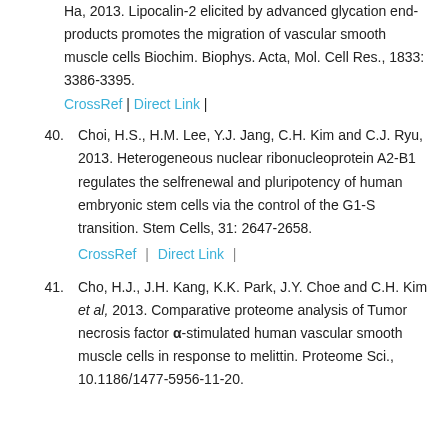Ha, 2013. Lipocalin-2 elicited by advanced glycation end-products promotes the migration of vascular smooth muscle cells Biochim. Biophys. Acta, Mol. Cell Res., 1833: 3386-3395.
CrossRef | Direct Link |
40. Choi, H.S., H.M. Lee, Y.J. Jang, C.H. Kim and C.J. Ryu, 2013. Heterogeneous nuclear ribonucleoprotein A2-B1 regulates the selfrenewal and pluripotency of human embryonic stem cells via the control of the G1-S transition. Stem Cells, 31: 2647-2658.
CrossRef | Direct Link |
41. Cho, H.J., J.H. Kang, K.K. Park, J.Y. Choe and C.H. Kim et al, 2013. Comparative proteome analysis of Tumor necrosis factor α-stimulated human vascular smooth muscle cells in response to melittin. Proteome Sci., 10.1186/1477-5956-11-20.